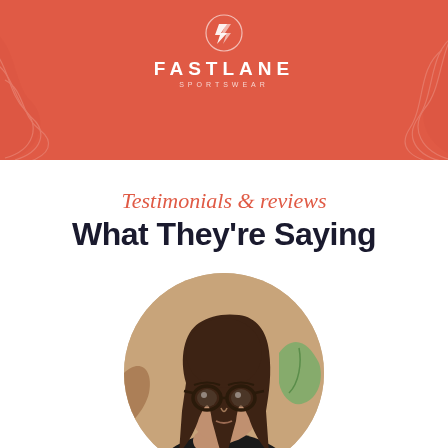[Figure (logo): Fastlane Sportswear logo on red/coral banner background with decorative abstract wave lines]
Testimonials & reviews
What They're Saying
[Figure (photo): Young woman with glasses and long brown hair resting chin on hand, circular cropped portrait photo]